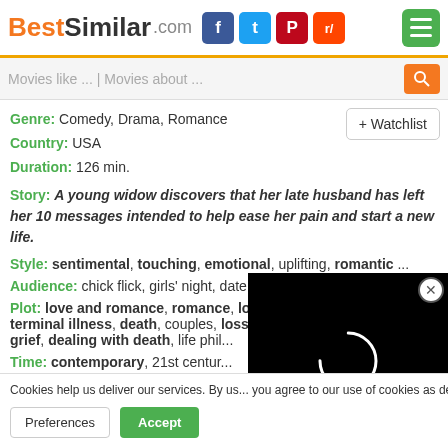BestSimilar.com
Movies like ... | Movies about ...
Genre: Comedy, Drama, Romance
Country: USA
Duration: 126 min.
+ Watchlist
Story: A young widow discovers that her late husband has left her 10 messages intended to help ease her pain and start a new life.
Style: sentimental, touching, emotional, uplifting, romantic ...
Audience: chick flick, girls' night, date night, teens
Plot: love and romance, romance, love story, starting over, terminal illness, death, couples, loss of spouse, family relations, grief, dealing with death, life phil...
Time: contemporary, 21st centur...
[Figure (other): Black video player overlay with loading spinner]
Cookies help us deliver our services. By us... you agree to our use of cookies as describe...
Preferences  Accept